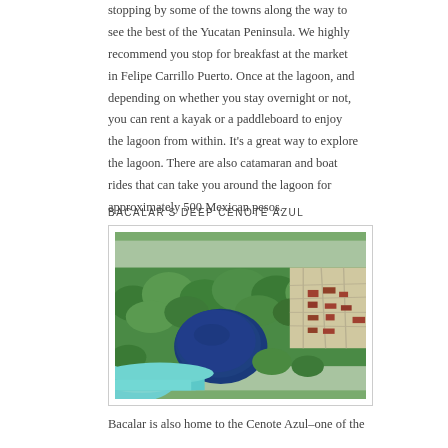stopping by some of the towns along the way to see the best of the Yucatan Peninsula. We highly recommend you stop for breakfast at the market in Felipe Carrillo Puerto. Once at the lagoon, and depending on whether you stay overnight or not, you can rent a kayak or a paddleboard to enjoy the lagoon from within. It's a great way to explore the lagoon. There are also catamaran and boat rides that can take you around the lagoon for approximately 500 Mexican pesos.
BACALAR'S DEEP CENOTE AZUL
[Figure (photo): Aerial photograph of Cenote Azul near Bacalar, Mexico, showing a large deep blue circular cenote surrounded by dense green jungle vegetation, with a town visible in the background and turquoise lagoon waters at the bottom-left.]
Bacalar is also home to the Cenote Azul–one of the